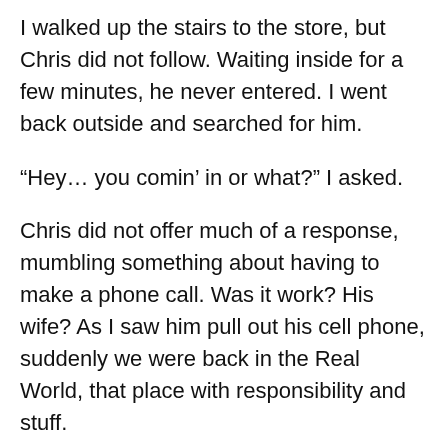I walked up the stairs to the store, but Chris did not follow. Waiting inside for a few minutes, he never entered. I went back outside and searched for him.
“Hey… you comin’ in or what?” I asked.
Chris did not offer much of a response, mumbling something about having to make a phone call. Was it work? His wife? As I saw him pull out his cell phone, suddenly we were back in the Real World, that place with responsibility and stuff.
Wanting no part of the Real World, I left Chris alone and bought a turkey sandwich and a Gatorade in the store. I was eating on the deck when Chris joined me.